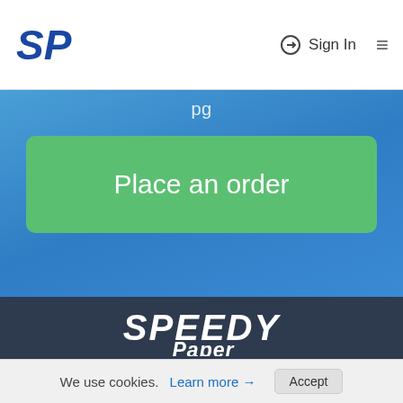SP — SpeedyPaper.com | Sign In
Place an order
[Figure (logo): SpeedyPaper logo — large italic white text SPEEDY above Paper in white italic]
Order   Prices   Reviews   How it works   About us
Contacts   Our writers   FAQ   Legal ▲   Useful tools ▲
Disclaimer: SpeedyPaper.com is a custom writing service that provides online on-demand writing work for assistance purposes. All the work should be used
We use cookies. Learn more → Accept